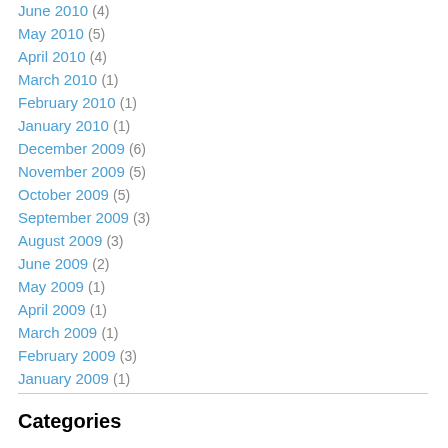June 2010 (4)
May 2010 (5)
April 2010 (4)
March 2010 (1)
February 2010 (1)
January 2010 (1)
December 2009 (6)
November 2009 (5)
October 2009 (5)
September 2009 (3)
August 2009 (3)
June 2009 (2)
May 2009 (1)
April 2009 (1)
March 2009 (1)
February 2009 (3)
January 2009 (1)
Categories